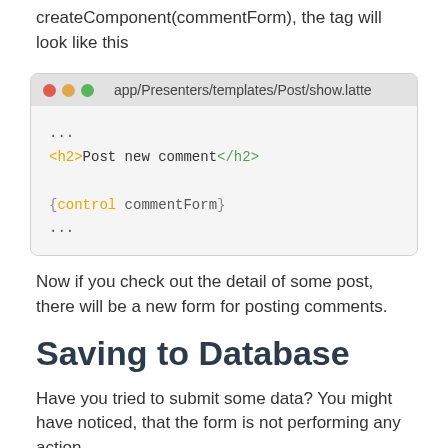createComponent(commentForm), the tag will look like this
[Figure (screenshot): Code editor window showing app/Presenters/templates/Post/show.latte with HTML and Latte template code including h2 tag and {control commentForm}]
Now if you check out the detail of some post, there will be a new form for posting comments.
Saving to Database
Have you tried to submit some data? You might have noticed, that the form is not performing any action